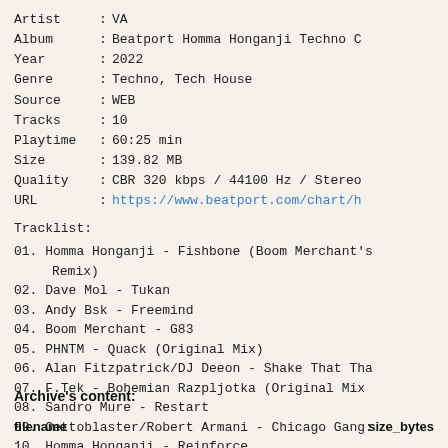Artist : VA
Album : Beatport Homma Honganji Techno C
Year : 2022
Genre : Techno, Tech House
Source : WEB
Tracks : 10
Playtime : 60:25 min
Size : 139.82 MB
Quality : CBR 320 kbps / 44100 Hz / Stereo
URL : https://www.beatport.com/chart/h
Tracklist:
01. Homma Honganji - Fishbone (Boom Merchant's Remix)
02. Dave Mol - Tukan
03. Andy Bsk - Freemind
04. Boom Merchant - G83
05. PHNTM - Quack (Original Mix)
06. Alan Fitzpatrick/DJ Deeon - Shake That Tha
07. F.Tek - Bohemian Razpljotka (Original Mix
08. Sandro Mure - Restart
09. Gettoblaster/Robert Armani - Chicago Gang:
10. Homma Honganji - Reinforce
Archive's content:
| filename | size_bytes |
| --- | --- |